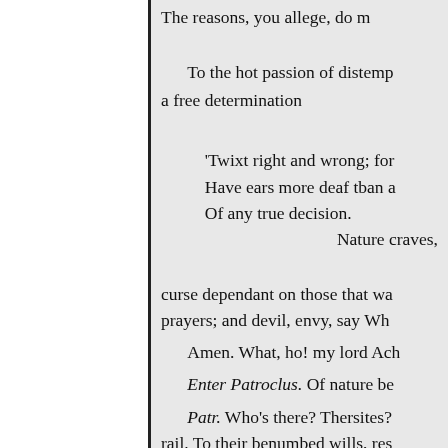The reasons, you allege, do m[ore]

To the hot passion of distemp[er]
a free determination

'Twixt right and wrong; for
Have ears more deaf than a[dders]
Of any true decision.
                          Nature craves,

curse dependant on those that wa[nt]
prayers; and devil, envy, say Wh[at]

Amen. What, ho! my lord Ach[illes]

Enter Patroclus. Of nature be[]

Patr. Who's there? Thersites?
rail. To their benumbed wills, res[t]

Ther. If I could have remembe[red]
wouldest not have slipped out of[]
contemplation : but it is no matte[r]
thyself! The common curse of m[]
bine in great revenue! heaven bl[]
thee from a tutor, and discipline []
heat! Let thy blood be thy dire[]